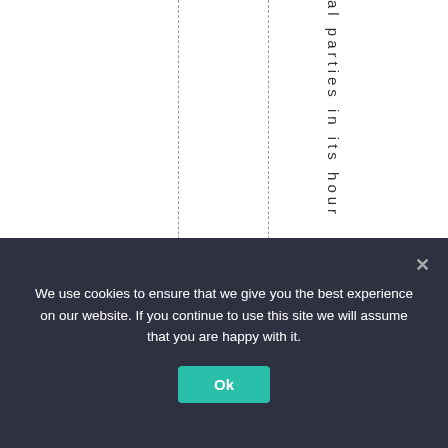al parties in its hour
We use cookies to ensure that we give you the best experience on our website. If you continue to use this site we will assume that you are happy with it.